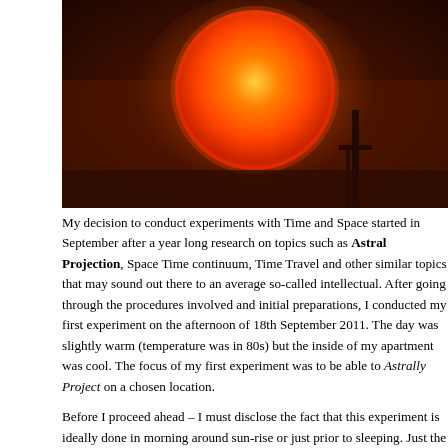[Figure (photo): Photo of a large orange-red sun orb against a dark reddish-brown sky, with a dark vertical pole/structure silhouetted in the lower right area.]
My decision to conduct experiments with Time and Space started in September after a year long research on topics such as Astral Projection, Space Time continuum, Time Travel and other similar topics that may sound out there to an average so-called intellectual. After going through the procedures involved and initial preparations, I conducted my first experiment on the afternoon of 18th September 2011. The day was slightly warm (temperature was in 80s) but the inside of my apartment was cool. The focus of my first experiment was to be able to Astrally Project on a chosen location.
Before I proceed ahead – I must disclose the fact that this experiment is ideally done in morning around sun-rise or just prior to sleeping. Just the fact that I conducted it in the middle of afternoon showed that i.) I was not expecting any results and ii.) I may not have been that serious as I would be in my future experiments.